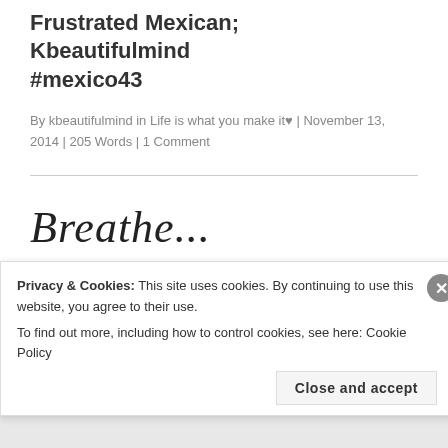Frustrated Mexican;
Kbeautifulmind
#mexico43
By kbeautifulmind in Life is what you make it♥ | November 13, 2014 | 205 Words | 1 Comment
[Figure (illustration): Breathe... in cursive/script handwriting style text]
Privacy & Cookies: This site uses cookies. By continuing to use this website, you agree to their use.
To find out more, including how to control cookies, see here: Cookie Policy
Close and accept